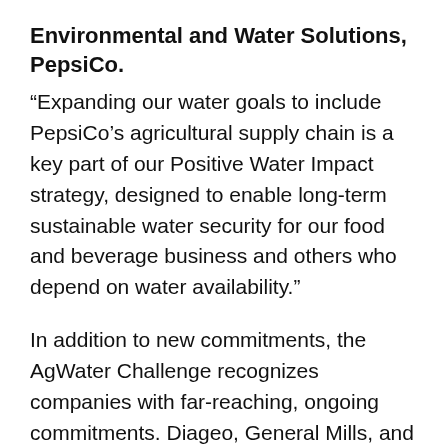Environmental and Water Solutions, PepsiCo.
“Expanding our water goals to include PepsiCo’s agricultural supply chain is a key part of our Positive Water Impact strategy, designed to enable long-term sustainable water security for our food and beverage business and others who depend on water availability.”
In addition to new commitments, the AgWater Challenge recognizes companies with far-reaching, ongoing commitments. Diageo, General Mills, and Kellogg were recognized as AgWater Stewards for showing action across all five categories of the groups’ AgWater Challenge checklist – from water risk assessments and setting reduction goals, to reducing water risk in agricultural supply chains and